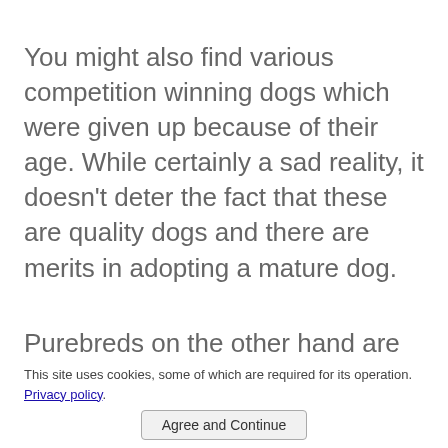You might also find various competition winning dogs which were given up because of their age. While certainly a sad reality, it doesn't deter the fact that these are quality dogs and there are merits in adopting a mature dog.
Purebreds on the other hand are rare in a regular shelter and if they do, they are usually quick to be adopted. If you fancy a particular breed, chances are there is just the right breed specific shelter for you. A simple google should bring up what you need nearest around you.
This site uses cookies, some of which are required for its operation. Privacy policy. Agree and Continue